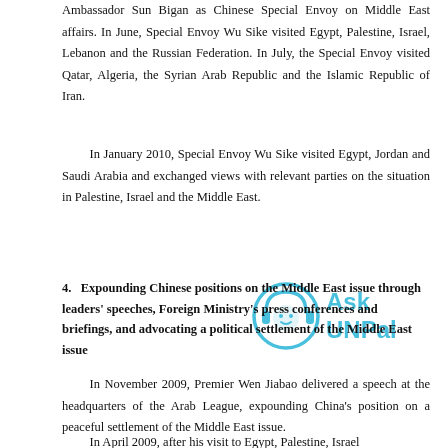Ambassador Sun Bigan as Chinese Special Envoy on Middle East affairs. In June, Special Envoy Wu Sike visited Egypt, Palestine, Israel, Lebanon and the Russian Federation. In July, the Special Envoy visited Qatar, Algeria, the Syrian Arab Republic and the Islamic Republic of Iran.
In January 2010, Special Envoy Wu Sike visited Egypt, Jordan and Saudi Arabia and exchanged views with relevant parties on the situation in Palestine, Israel and the Middle East.
4.   Expounding Chinese positions on the Middle East issue through leaders' speeches, Foreign Ministry's press conferences and briefings, and advocating a political settlement of the Middle East issue
In November 2009, Premier Wen Jiabao delivered a speech at the headquarters of the Arab League, expounding China's position on a peaceful settlement of the Middle East issue.
In April 2009, after his visit to Egypt, Palestine, Israel